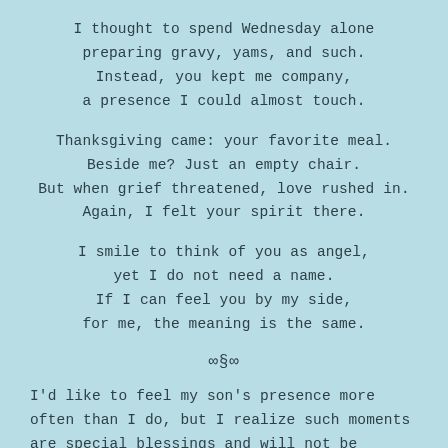I thought to spend Wednesday alone
preparing gravy, yams, and such.
Instead, you kept me company,
a presence I could almost touch.
Thanksgiving came: your favorite meal.
Beside me? Just an empty chair.
But when grief threatened, love rushed in.
Again, I felt your spirit there.
I smile to think of you as angel,
yet I do not need a name.
If I can feel you by my side,
for me, the meaning is the same.
∞§∞
I'd like to feel my son's presence more often than I do, but I realize such moments are special blessings and will not be experienced all the time. He has his own road to travel without worrying overmuch about